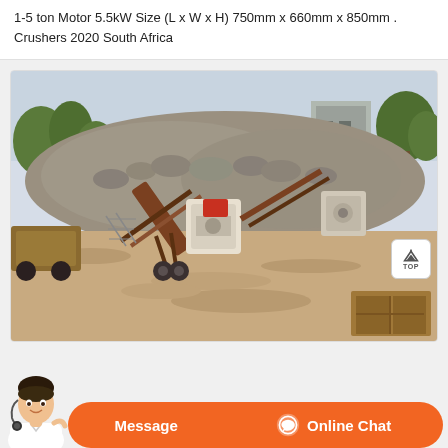1-5 ton Motor 5.5kW Size (L x W x H) 750mm x 660mm x 850mm . Crushers 2020 South Africa
[Figure (photo): Outdoor quarry/mining site showing a mobile stone crushing and screening plant with conveyors, crushers, and a large pile of rocks/gravel in the background. Trees and a building are visible in the background. Sandy ground in the foreground with a wooden structure at bottom right.]